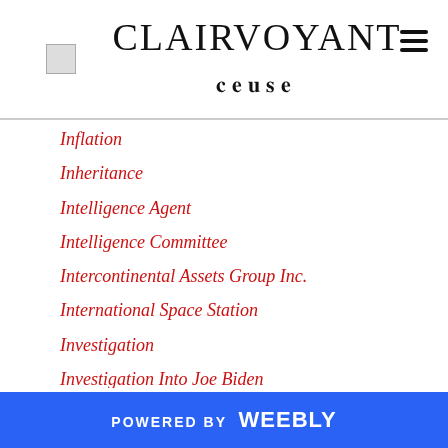CLAIRVOYANT
Inflation
Inheritance
Intelligence Agent
Intelligence Committee
Intercontinental Assets Group Inc.
International Space Station
Investigation
Investigation Into Joe Biden
Investment
Investment Banker
Investment Banking
Investments
Iran
Iranian Attack Plans
POWERED BY weebly